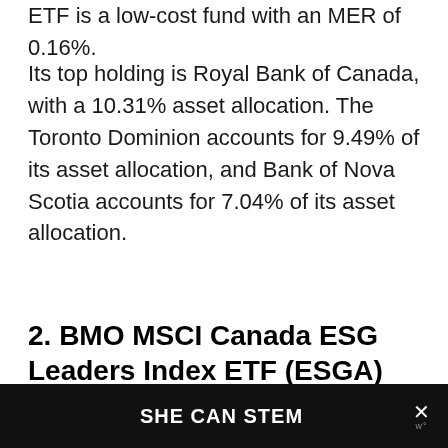ETF is a low-cost fund with an MER of 0.16%.
Its top holding is Royal Bank of Canada, with a 10.31% asset allocation. The Toronto Dominion accounts for 9.49% of its asset allocation, and Bank of Nova Scotia accounts for 7.04% of its asset allocation.
2. BMO MSCI Canada ESG Leaders Index ETF (ESGA)
[Figure (logo): BMO bank logo — blue bold text 'BMO' next to a red circle emblem with mountain/chevron symbol and registered trademark symbol]
SHE CAN STEM